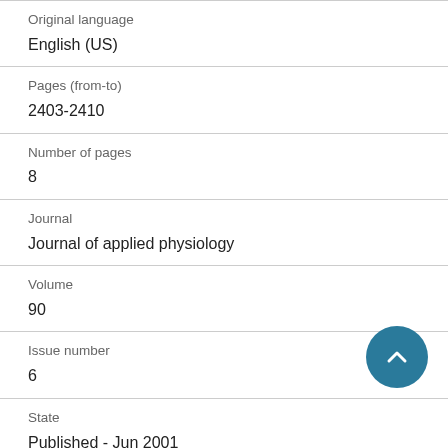Original language
English (US)
Pages (from-to)
2403-2410
Number of pages
8
Journal
Journal of applied physiology
Volume
90
Issue number
6
State
Published - Jun 2001
Keywords